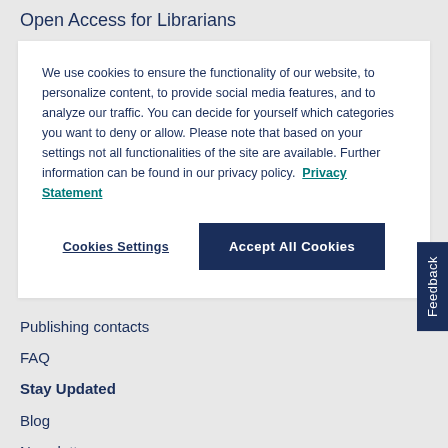Open Access for Librarians
We use cookies to ensure the functionality of our website, to personalize content, to provide social media features, and to analyze our traffic. You can decide for yourself which categories you want to deny or allow. Please note that based on your settings not all functionalities of the site are available. Further information can be found in our privacy policy.  Privacy Statement
Cookies Settings
Accept All Cookies
Publishing contacts
FAQ
Stay Updated
Blog
Newsletters